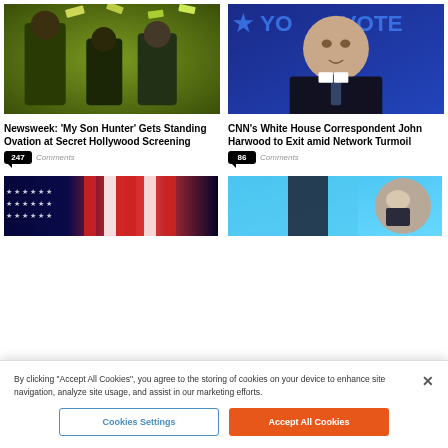[Figure (photo): Green-tinted photo of people at an event, money flying in the air]
Newsweek: ‘My Son Hunter’ Gets Standing Ovation at Secret Hollywood Screening
247 Comments
[Figure (photo): Man in suit at a CNN Your Vote backdrop]
CNN’s White House Correspondent John Harwood to Exit amid Network Turmoil
86 Comments
[Figure (photo): American flags, dark blue background]
[Figure (photo): Light blue background with partial circular portrait]
By clicking “Accept All Cookies”, you agree to the storing of cookies on your device to enhance site navigation, analyze site usage, and assist in our marketing efforts.
Cookies Settings
Accept All Cookies